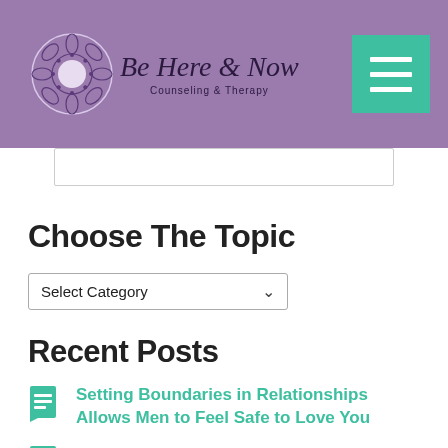[Figure (logo): Be Here & Now Counseling & Therapy logo with decorative mandala circle and script text, on purple header bar with teal hamburger menu button]
Choose The Topic
Select Category
Recent Posts
Setting Boundaries in Relationships Allows Men to Feel Safe to Love You
Three Healing Ways to Embrace Your Power in the Relationship